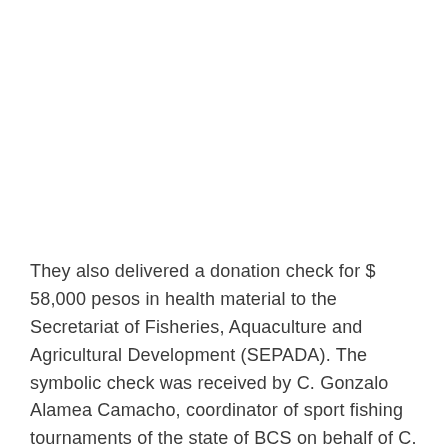They also delivered a donation check for $ 58,000 pesos in health material to the Secretariat of Fisheries, Aquaculture and Agricultural Development (SEPADA). The symbolic check was received by C. Gonzalo Alamea Camacho, coordinator of sport fishing tournaments of the state of BCS on behalf of C. Luis Andrés Córdova Urrutia Secretary of SEPADA.